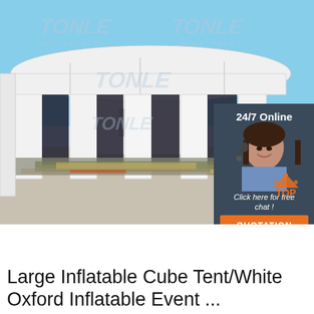[Figure (photo): Large white inflatable cube tent with multiple pillars and transparent windows, photographed outdoors on a concrete surface. TONLE watermark visible. Overlay includes a customer service representative with headset and a dark blue sidebar with '24/7 Online', 'Click here for free chat!', and 'QUOTATION' button in orange. A red 'TOP' triangular logo appears at bottom right of the photo area.]
Large Inflatable Cube Tent/White Oxford Inflatable Event ...